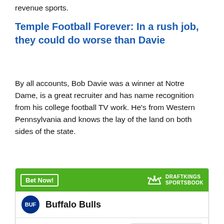revenue sports.
Temple Football Forever: In a rush job, they could do worse than Davie
By all accounts, Bob Davie was a winner at Notre Dame, is a great recruiter and has name recognition from his college football TV work. He's from Western Pennsylvania and knows the lay of the land on both sides of the state.
[Figure (infographic): DraftKings Sportsbook betting widget showing Buffalo Bulls odds. Header: green bar with 'Bet Now!' button and DraftKings Sportsbook logo. Team row: Buffalo Bulls with BUF logo. Bet rows: 'To win National Championship' +500000, 'To win MAC' +2000.]